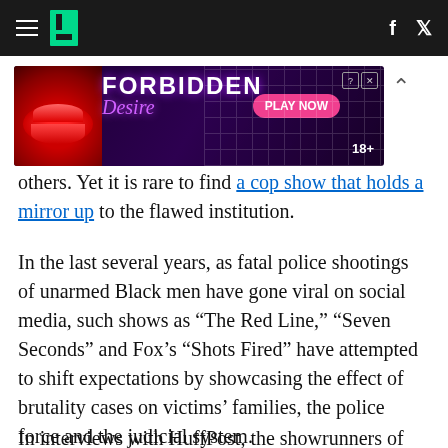HuffPost header navigation with hamburger menu, logo, Facebook and Twitter icons
[Figure (other): Advertisement banner for 'Forbidden Desire' game with lips image, purple/pink background, PLAY NOW button, 18+ label]
others. Yet it is rare to find a cop show that holds a mirror up to the flawed institution.
In the last several years, as fatal police shootings of unarmed Black men have gone viral on social media, such shows as “The Red Line,” “Seven Seconds” and Fox’s “Shots Fired” have attempted to shift expectations by showcasing the effect of brutality cases on victims’ families, the police force and the judicial system.
In interviews with HuffPost, the showrunners of